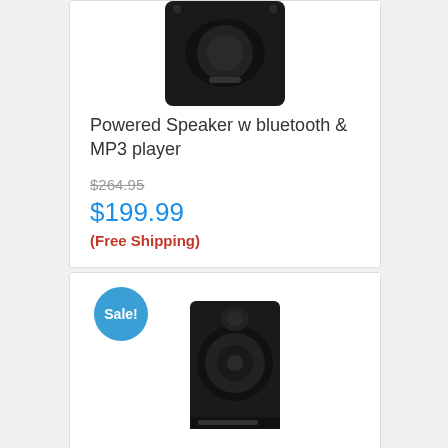[Figure (photo): Top portion of a black powered speaker with bluetooth and MP3 player, showing the top/front face of the unit on white background]
Powered Speaker w bluetooth & MP3 player
$264.95
$199.99
(Free Shipping)
[Figure (photo): XPRS 10 Full Range speaker in black with a 'Sale!' badge overlay in blue circle]
XPRS 10 Full Range